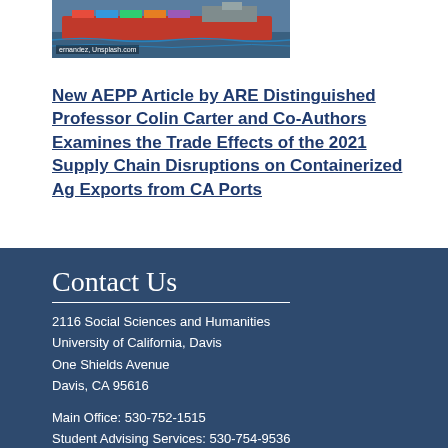[Figure (photo): Photograph of a container ship at sea, with a watermark reading 'ernandez, Unsplash.com']
New AEPP Article by ARE Distinguished Professor Colin Carter and Co-Authors Examines the Trade Effects of the 2021 Supply Chain Disruptions on Containerized Ag Exports from CA Ports
Contact Us
2116 Social Sciences and Humanities
University of California, Davis
One Shields Avenue
Davis, CA 95616
Main Office: 530-752-1515
Student Advising Services: 530-754-9536